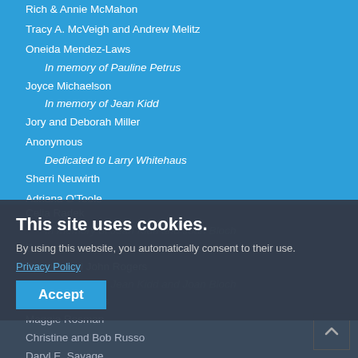Rich & Annie McMahon
Tracy A. McVeigh and Andrew Melitz
Oneida Mendez-Laws
In memory of Pauline Petrus
Joyce Michaelson
In memory of Jean Kidd
Jory and Deborah Miller
Anonymous
Dedicated to Larry Whitehaus
Sherri Neuwirth
Adriana O'Toole
Paul and Mary Ellen Palmeri
Celia Radek
In memory of Jean Kidd and Joan Bloch
Ed Remsen
Cynthia and John Rogers
In memory of Jean Kidd and Joan Bloch
Marcia S. Rogers
Maggie Rosman
Christine and Bob Russo
Daryl E. Savage